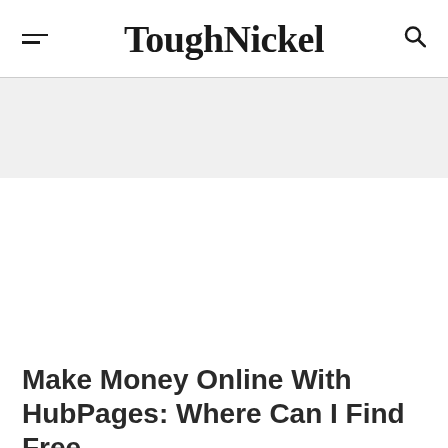ToughNickel
Make Money Online With HubPages: Where Can I Find Free